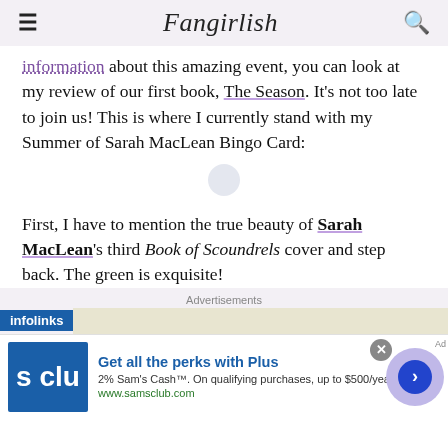Fangirlish
information about this amazing event, you can look at my review of our first book, The Season. It’s not too late to join us! This is where I currently stand with my Summer of Sarah MacLean Bingo Card:
First, I have to mention the true beauty of Sarah MacLean’s third Book of Scoundrels cover and step back. The green is exquisite!
Advertisements
[Figure (screenshot): Infolinks advertisement banner with Sam's Club promotion. Get all the perks with Plus. 2% Sam's Cash. On qualifying purchases, up to $500/year. www.samsclub.com]